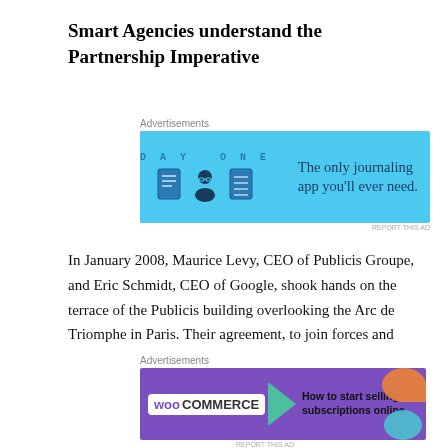Smart Agencies understand the Partnership Imperative
[Figure (illustration): DayOne app advertisement banner with light blue background showing DAY ONE logo, three icons (notebook, person with glasses, notebook) and text 'The only journaling app you'll ever need.']
In January 2008, Maurice Levy, CEO of Publicis Groupe, and Eric Schmidt, CEO of Google, shook hands on the terrace of the Publicis building overlooking the Arc de Triomphe in Paris. Their agreement, to join forces and partner in the deployment of new digital advertising technologies. kickstarted a radical transformation in the
[Figure (illustration): WooCommerce advertisement banner with purple background showing WooCommerce logo with teal arrow and text 'How to start selling subscriptions online' with orange and teal decorative blobs]